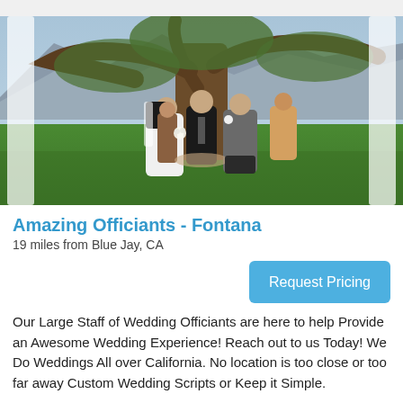[Figure (photo): Wedding ceremony outdoors under a large tree with mountains in background. A bride in white dress and groom in dark suit face each other holding hands, with an officiant in black standing between them. White drape columns frame the scene on left and right.]
Amazing Officiants - Fontana
19 miles from Blue Jay, CA
Request Pricing
Our Large Staff of Wedding Officiants are here to help Provide an Awesome Wedding Experience! Reach out to us Today! We Do Weddings All over California. No location is too close or too far away Custom Wedding Scripts or Keep it Simple.